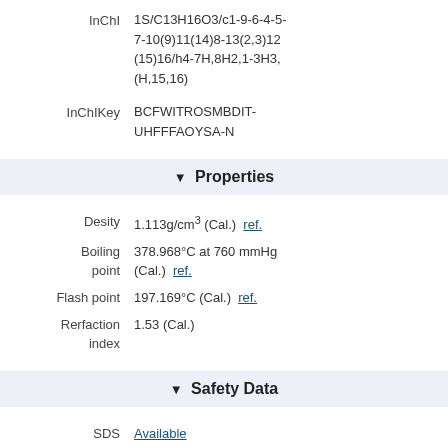InChI: 1S/C13H16O3/c1-9-6-4-5-7-10(9)11(14)8-13(2,3)12(15)16/h4-7H,8H2,1-3H3,(H,15,16)
InChIKey: BCFWITROSMBDIT-UHFFFAOYSA-N
▼ Properties
Desity: 1.113g/cm3 (Cal.) ref.
Boiling point: 378.968°C at 760 mmHg (Cal.) ref.
Flash point: 197.169°C (Cal.) ref.
Rerfaction index: 1.53 (Cal.)
▼ Safety Data
SDS: Available
▼ Market Analysis